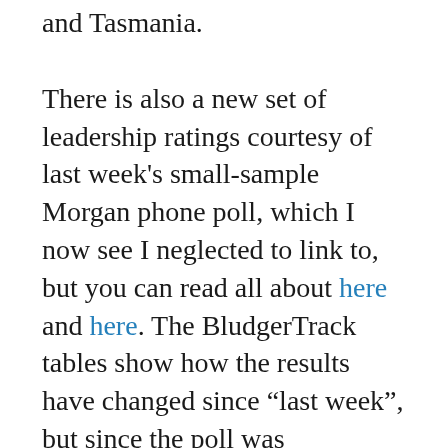and Tasmania.
There is also a new set of leadership ratings courtesy of last week's small-sample Morgan phone poll, which I now see I neglected to link to, but you can read all about here and here. The BludgerTrack tables show how the results have changed since “last week”, but since the poll was conducted last Monday to Wednesday, it might be better understood as a revised reading of the previous result than a current state of play. In particular, if the Labor national conference made any change to Bill Shorten’s position for better or worse, this poll will not have captured it. In any case, the result adds incrementally to the headlong plunges of both leaders on net approval, but doesn’t make